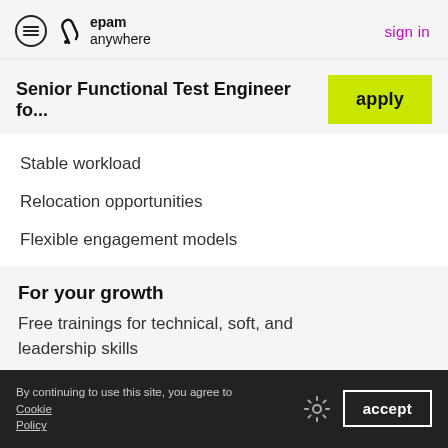epam anywhere — sign in
Senior Functional Test Engineer fo...
Stable workload
Relocation opportunities
Flexible engagement models
For your growth
Free trainings for technical, soft, and leadership skills
By continuing to use this site, you agree to Cookie Policy — accept